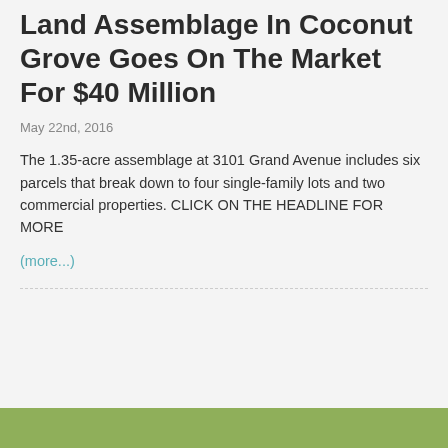Land Assemblage In Coconut Grove Goes On The Market For $40 Million
May 22nd, 2016
The 1.35-acre assemblage at 3101 Grand Avenue includes six parcels that break down to four single-family lots and two commercial properties. CLICK ON THE HEADLINE FOR MORE
(more...)